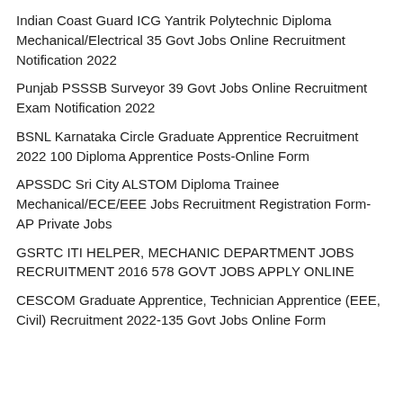Indian Coast Guard ICG Yantrik Polytechnic Diploma Mechanical/Electrical 35 Govt Jobs Online Recruitment Notification 2022
Punjab PSSSB Surveyor 39 Govt Jobs Online Recruitment Exam Notification 2022
BSNL Karnataka Circle Graduate Apprentice Recruitment 2022 100 Diploma Apprentice Posts-Online Form
APSSDC Sri City ALSTOM Diploma Trainee Mechanical/ECE/EEE Jobs Recruitment Registration Form-AP Private Jobs
GSRTC ITI HELPER, MECHANIC DEPARTMENT JOBS RECRUITMENT 2016 578 GOVT JOBS APPLY ONLINE
CESCOM Graduate Apprentice, Technician Apprentice (EEE, Civil) Recruitment 2022-135 Govt Jobs Online Form